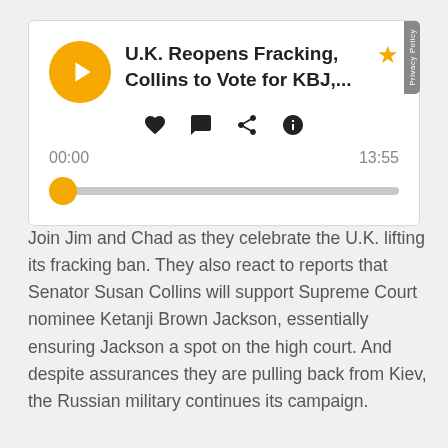[Figure (other): Podcast audio player widget. Shows a yellow circular play button, title 'U.K. Reopens Fracking, Collins to Vote for KBJ,...', a yellow star bookmark icon, social interaction icons (heart, comment, share, info), timestamps '00:00' and '13:55', and a progress bar with yellow thumb at start position. A 'Privacy Policy' tab appears on the right edge.]
Join Jim and Chad as they celebrate the U.K. lifting its fracking ban. They also react to reports that Senator Susan Collins will support Supreme Court nominee Ketanji Brown Jackson, essentially ensuring Jackson a spot on the high court. And despite assurances they are pulling back from Kiev, the Russian military continues its campaign.